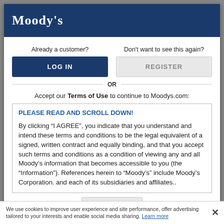Moody's
Already a customer?
LOG IN
Don't want to see this again?
REGISTER
OR
Accept our Terms of Use to continue to Moodys.com:
PLEASE READ AND SCROLL DOWN!
By clicking “I AGREE”, you indicate that you understand and intend these terms and conditions to be the legal equivalent of a signed, written contract and equally binding, and that you accept such terms and conditions as a condition of viewing any and all Moody’s information that becomes accessible to you (the “Information”). References herein to “Moody’s” include Moody’s Corporation. and each of its subsidiaries and affiliates..
I AGREE
We use cookies to improve user experience and site performance, offer advertising tailored to your interests and enable social media sharing. Learn more